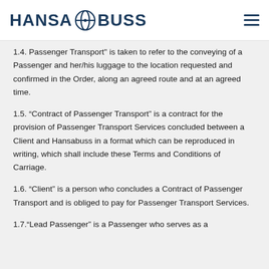HANSA BUSS
1.4. "Passenger Transport" is taken to refer to the conveying of a Passenger and her/his luggage to the location requested and confirmed in the Order, along an agreed route and at an agreed time.
1.5. “Contract of Passenger Transport” is a contract for the provision of Passenger Transport Services concluded between a Client and Hansabuss in a format which can be reproduced in writing, which shall include these Terms and Conditions of Carriage.
1.6. “Client” is a person who concludes a Contract of Passenger Transport and is obliged to pay for Passenger Transport Services.
1.7.“Lead Passenger” is a Passenger who serves as a